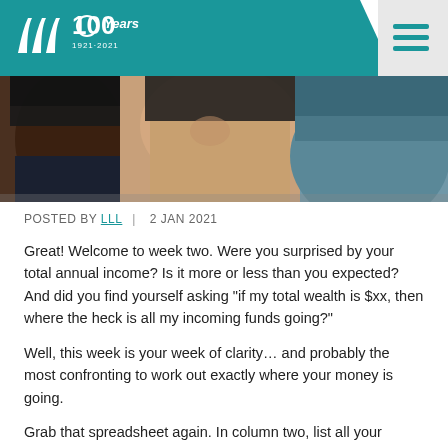LLL | 100 Years 1921-2021
[Figure (photo): Cropped photo showing three women's torsos, one in dark skin wearing black bra and jeans, one in medium skin wearing black bra, one in lighter skin wearing teal/blue top]
POSTED BY LLL | 2 JAN 2021
Great! Welcome to week two. Were you surprised by your total annual income? Is it more or less than you expected? And did you find yourself asking "if my total wealth is $xx, then where the heck is all my incoming funds going?"
Well, this week is your week of clarity… and probably the most confronting to work out exactly where your money is going.
Grab that spreadsheet again. In column two, list all your outgoing expenses on an annual basis, including:
Current interest on loans including personal, student and/or